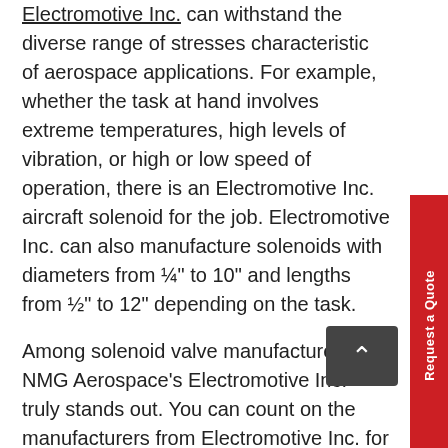Electromotive Inc. can withstand the diverse range of stresses characteristic of aerospace applications. For example, whether the task at hand involves extreme temperatures, high levels of vibration, or high or low speed of operation, there is an Electromotive Inc. aircraft solenoid for the job. Electromotive Inc. can also manufacture solenoids with diameters from ¼" to 10" and lengths from ½" to 12" depending on the task.
Among solenoid valve manufacturers, NMG Aerospace's Electromotive Inc. truly stands out. You can count on the manufacturers from Electromotive Inc. for aerospace solenoid valves that must operate in special environments, for both special shapes and mountings, special materials, reverse engineering, EMI protection, and